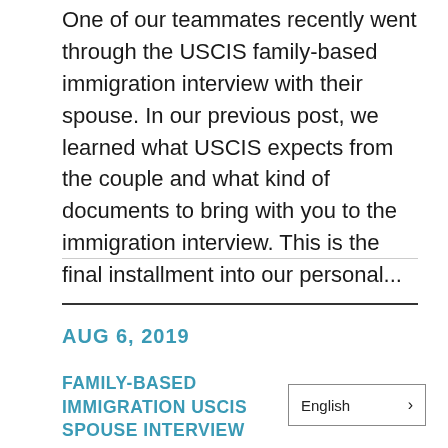One of our teammates recently went through the USCIS family-based immigration interview with their spouse. In our previous post, we learned what USCIS expects from the couple and what kind of documents to bring with you to the immigration interview. This is the final installment into our personal...
AUG 6, 2019
FAMILY-BASED IMMIGRATION USCIS SPOUSE INTERVIEW
English >